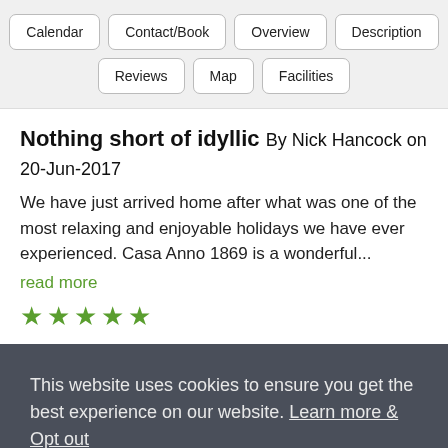Calendar
Contact/Book
Overview
Description
Reviews
Map
Facilities
Nothing short of idyllic By Nick Hancock on 20-Jun-2017
We have just arrived home after what was one of the most relaxing and enjoyable holidays we have ever experienced. Casa Anno 1869 is a wonderful...
read more
[Figure (other): Five green stars rating]
This website uses cookies to ensure you get the best experience on our website. Learn more & Opt out
Got it!